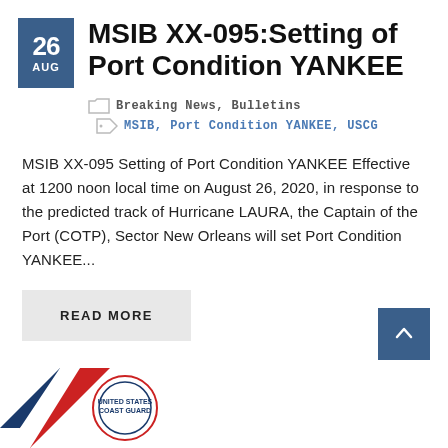MSIB XX-095:Setting of Port Condition YANKEE
Breaking News, Bulletins
MSIB, Port Condition YANKEE, USCG
MSIB XX-095 Setting of Port Condition YANKEE Effective at 1200 noon local time on August 26, 2020, in response to the predicted track of Hurricane LAURA, the Captain of the Port (COTP), Sector New Orleans will set Port Condition YANKEE...
READ MORE
[Figure (logo): USCG logo with red, white, and blue diagonal stripes]